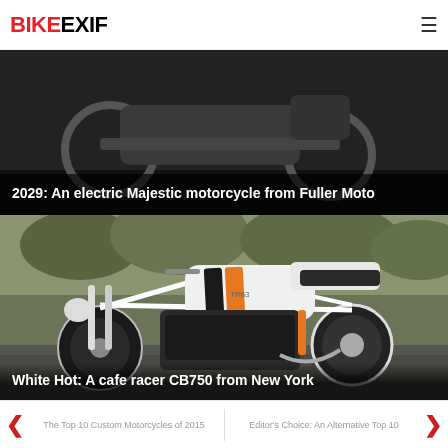BIKEEXIF
2029: An electric Majestic motorcycle from Fuller Moto
[Figure (photo): White cafe racer CB750 motorcycle with orange and black stripes on tank, photographed outdoors against trees]
White Hot: A cafe racer CB750 from New York
The Top 10 Custom Motorcycles of 2015
Editor's Choice: An Alternative Top 10